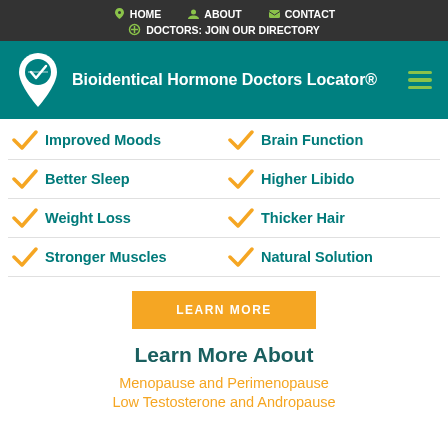HOME  ABOUT  CONTACT  DOCTORS: JOIN OUR DIRECTORY
Bioidentical Hormone Doctors Locator®
Improved Moods
Brain Function
Better Sleep
Higher Libido
Weight Loss
Thicker Hair
Stronger Muscles
Natural Solution
LEARN MORE
Learn More About
Menopause and Perimenopause
Low Testosterone and Andropause